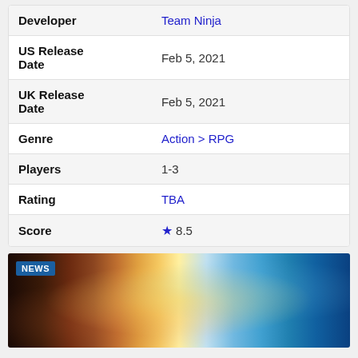| Field | Value |
| --- | --- |
| Developer | Team Ninja |
| US Release Date | Feb 5, 2021 |
| UK Release Date | Feb 5, 2021 |
| Genre | Action > RPG |
| Players | 1-3 |
| Rating | TBA |
| Score | ★ 8.5 |
[Figure (photo): News banner image showing a dark fantasy game scene with glowing golden combat effects on the left and a samurai-style warrior on the right against a blue sky background. A 'NEWS' badge is overlaid in the top-left corner.]